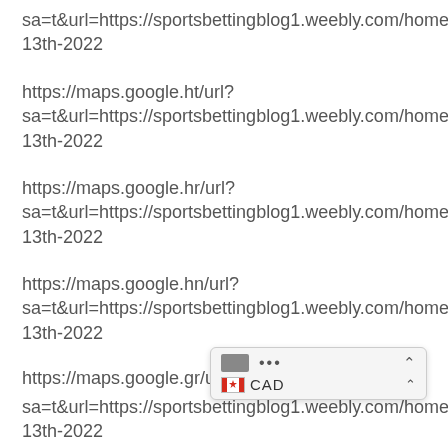sa=t&url=https://sportsbettingblog1.weebly.com/home/july-13th-2022
https://maps.google.ht/url?
sa=t&url=https://sportsbettingblog1.weebly.com/home/july-13th-2022
https://maps.google.hr/url?
sa=t&url=https://sportsbettingblog1.weebly.com/home/july-13th-2022
https://maps.google.hn/url?
sa=t&url=https://sportsbettingblog1.weebly.com/home/july-13th-2022
https://maps.google.gr/url?
sa=t&url=https://sportsbettingblog1.weebly.com/home/july-13th-2022
https://maps.google.gm/...
sa=t&url=https://sportsb...weebly.com/home/july-13th-2022